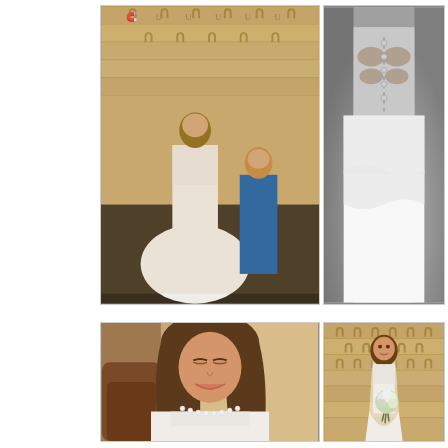[Figure (photo): Color photo of bride in white lace wedding dress with bridesmaid in blue dress helping her in a rustic wooden barn with horseshoe decorations on the wall]
[Figure (photo): Black and white close-up photo of hands buttoning or fastening the back of a white lace wedding dress]
[Figure (photo): Close-up color photo of bride smiling downward wearing white lace cap-sleeve wedding dress and pearl necklace, with brown leather chair visible]
[Figure (photo): Color photo of bride in full white wedding dress and veil standing in front of wooden barn wall decorated with horseshoes, holding a white bouquet]